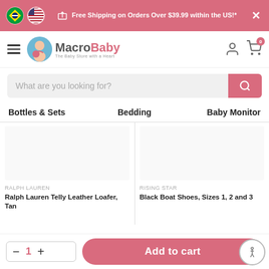Free Shipping on Orders Over $39.99 within the US!*
[Figure (logo): MacroBaby logo - The Baby Store with a Heart]
What are you looking for?
Bottles & Sets
Bedding
Baby Monitor
RALPH LAUREN
Ralph Lauren Telly Leather Loafer, Tan
RISING STAR
Black Boat Shoes, Sizes 1, 2 and 3
Add to cart